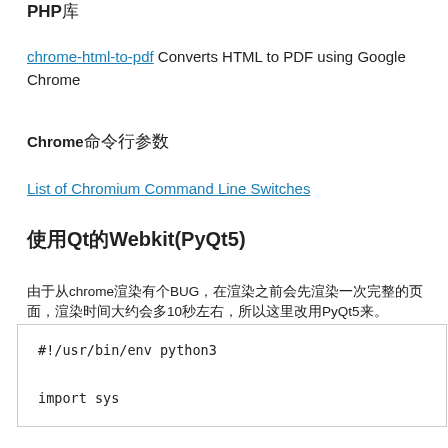PHP库
chrome-html-to-pdf Converts HTML to PDF using Google Chrome
Chrome命令行参数
List of Chromium Command Line Switches
使用Qt的Webkit(PyQt5)
由于从chrome渲染有个BUG，在渲染之前会先渲染一次完整的页面，渲染时间大约会多10秒左右，所以这里改用PyQt5来。
#!/usr/bin/env python3

import sys